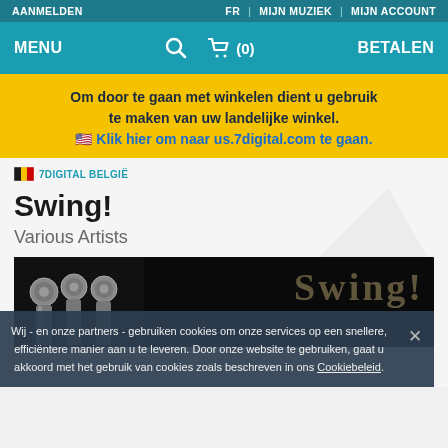AANMELDEN  FR | MIJN MUZIEK | MIJN ACCOUNT
MENU  🔍  🛒 (0)  BETALEN
Om door te gaan met winkelen dient u gebruik te maken van uw landelijke winkel. 🇺🇸 Klik hier om naar us.7digital.com te gaan.
🇧🇪 7DIGITAL BELGIË
Swing!
Various Artists
[Figure (photo): Album cover image for Swing! showing musical instruments (trumpet/horn detail) in black background with stylized golden script text overlay.]
Wij - en onze partners - gebruiken cookies om onze services op een snellere, efficiëntere manier aan u te leveren. Door onze website te gebruiken, gaat u akkoord met het gebruik van cookies zoals beschreven in ons Cookiebeleid.